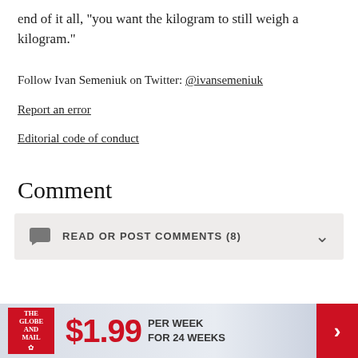end of it all, "you want the kilogram to still weigh a kilogram."
Follow Ivan Semeniuk on Twitter: @ivansemeniuk
Report an error
Editorial code of conduct
Comment
READ OR POST COMMENTS (8)
[Figure (other): The Globe and Mail subscription advertisement banner: $1.99 PER WEEK FOR 24 WEEKS]